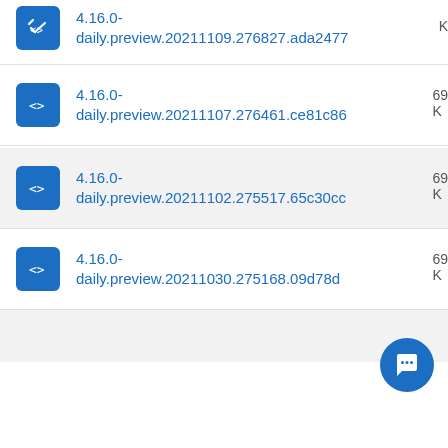4.16.0-daily.preview.20211109.276827.ada2477
4.16.0-daily.preview.20211107.276461.ce81c86
4.16.0-daily.preview.20211102.275517.65c30cc
4.16.0-daily.preview.20211030.275168.09d78d...